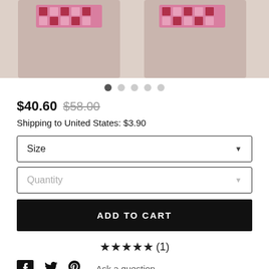[Figure (photo): Product photo showing two models from the waist down wearing pink/checkered swimwear bottoms against a light grey background]
$40.60  $58.00
Shipping to United States: $3.90
Size (dropdown)
Quantity (dropdown)
ADD TO CART
★★★★★(1)
Ask a question